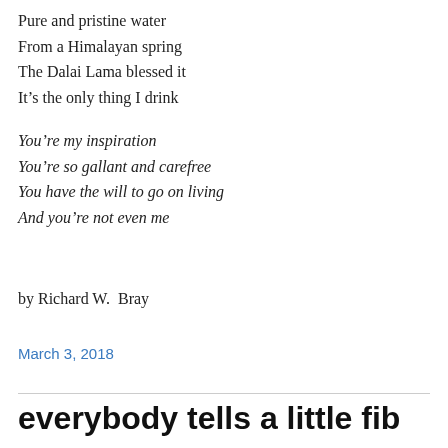Pure and pristine water
From a Himalayan spring
The Dalai Lama blessed it
It's the only thing I drink
You're my inspiration
You're so gallant and carefree
You have the will to go on living
And you're not even me
by Richard W.  Bray
March 3, 2018
everybody tells a little fib now